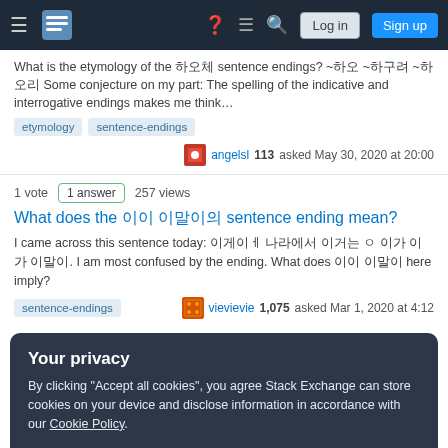Stack Exchange navigation bar with Log in and Sign up buttons
What is the etymology of the 하오체 sentence endings? ~하오 ~하구려 ~하오리 Some conjecture on my part: The spelling of the indicative and interrogative endings makes me think…
etymology
sentence-endings
angelsl 113 asked May 30, 2020 at 20:00
1 vote  1 answer  257 views
What does the 이 마당에 sentence ending mean?
I came across this sentence today: 이게이ㅔ 나라에서 이거는 ㅇ 이가 이가 이말이. I am most confused by the ending. What does 이이 이말이 here imply?
sentence-endings
vievievie 1,075 asked Mar 1, 2020 at 4:12
Your privacy
By clicking "Accept all cookies", you agree Stack Exchange can store cookies on your device and disclose information in accordance with our Cookie Policy.
Accept all cookies
Customize settings
B. Ann 1,177 asked Feb 17, 2017 at 9:14